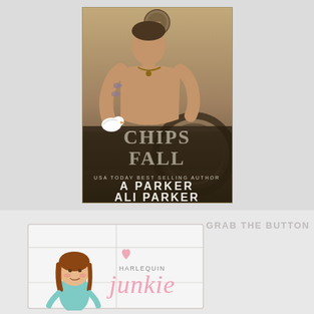[Figure (photo): Book cover for 'Chips Fall' by A Parker and Ali Parker. Shows a shirtless tattooed man holding a white bird, with motorcycle parts in the background. USA Today Best Selling Author text at bottom of cover.]
GRAB THE BUTTON
[Figure (logo): Harlequin Junkie blog logo featuring a cartoon girl with brown hair wearing a teal outfit, with a heart graphic and the text 'HARLEQUIN junkie' in pink letters on a light background with a window frame border.]